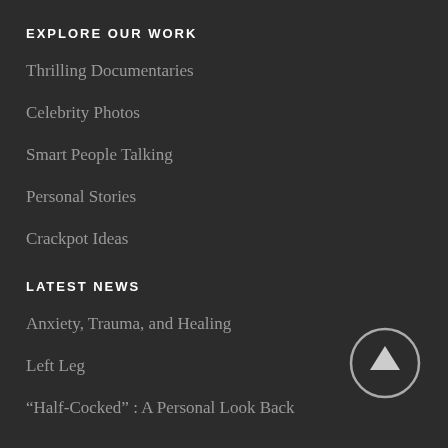EXPLORE OUR WORK
Thrilling Documentaries
Celebrity Photos
Smart People Talking
Personal Stories
Crackpot Ideas
LATEST NEWS
Anxiety, Trauma, and Healing
Left Leg
“Half-Cocked” : A Personal Look Back